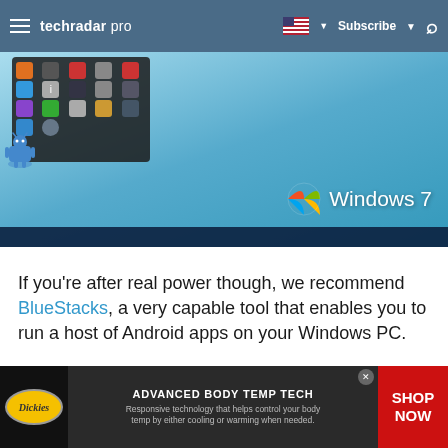techradar pro — Subscribe
[Figure (screenshot): Screenshot of Windows 7 desktop showing an Android app drawer overlay with various app icons, the Windows 7 logo in the lower right, and a taskbar at the bottom.]
If you're after real power though, we recommend BlueStacks, a very capable tool that enables you to run a host of Android apps on your Windows PC.
[Figure (photo): Advertisement banner for Dickies Advanced Body Temp Tech: 'Responsive technology that helps control your body temp by either cooling or warming when needed.' with a Shop Now call to action.]